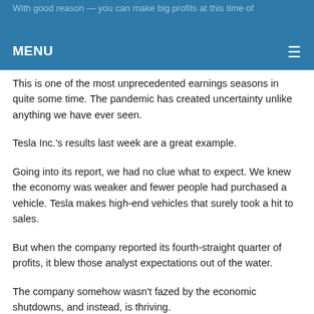With good reason — you can make big profits at this time of
MENU ≡
This is one of the most unprecedented earnings seasons in quite some time. The pandemic has created uncertainty unlike anything we have ever seen.
Tesla Inc.'s results last week are a great example.
Going into its report, we had no clue what to expect. We knew the economy was weaker and fewer people had purchased a vehicle. Tesla makes high-end vehicles that surely took a hit to sales.
But when the company reported its fourth-straight quarter of profits, it blew those analyst expectations out of the water.
The company somehow wasn't fazed by the economic shutdowns, and instead, is thriving.